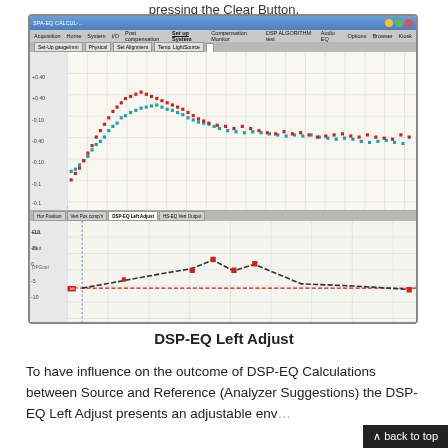pressing the Clear Button.
[Figure (screenshot): Software screenshot showing DSP-EQ Left Adjust interface with two chart panels: upper panel displaying red and teal/blue scatter data points over frequency range, lower panel showing DSP-EQ Left Adjust curve with red marker points on a dashed baseline.]
DSP-EQ Left Adjust
To have influence on the outcome of DSP-EQ Calculations between Source and Reference (Analyzer Suggestions) the DSP-EQ Left Adjust presents an adjustable env...